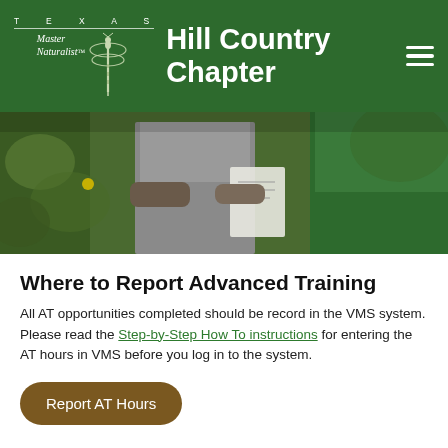TEXAS Master Naturalist Hill Country Chapter
[Figure (photo): Outdoor nature scene showing people in a garden or natural area, wearing green and grey clothing, looking at plants]
Where to Report Advanced Training
All AT opportunities completed should be record in the VMS system. Please read the Step-by-Step How To instructions for entering the AT hours in VMS before you log in to the system.
Report AT Hours